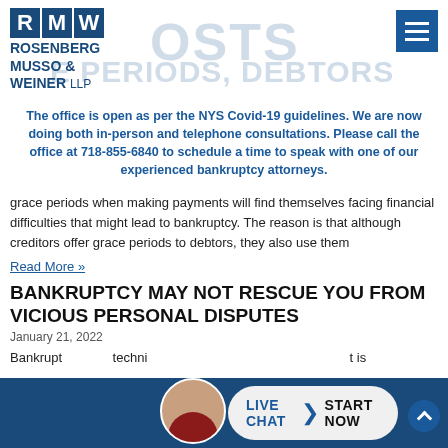[Figure (logo): Rosenberg Musso & Weiner LLP logo with blue letter boxes R, M, W and firm name]
The office is open as per the NYS Covid-19 guidelines. We are now doing both in-person and telephone consultations. Please call the office at 718-855-6840 to schedule a time to speak with one of our experienced bankruptcy attorneys.
grace periods when making payments will find themselves facing financial difficulties that might lead to bankruptcy. The reason is that although creditors offer grace periods to debtors, they also use them
Read More »
BANKRUPTCY MAY NOT RESCUE YOU FROM VICIOUS PERSONAL DISPUTES
January 21, 2022
Bankruptcy techni... t is
[Figure (photo): Avatar photo of attorney with live chat button showing LIVE CHAT > START NOW]